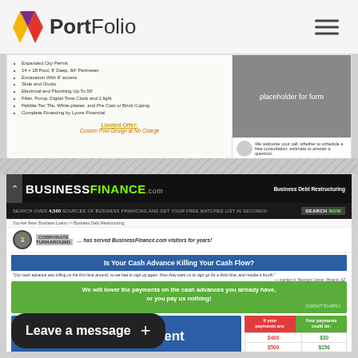[Figure (screenshot): PortFolio website navigation bar with colorful diamond logo and hamburger menu]
[Figure (screenshot): Pool/spa company website section showing features list and placeholder form area]
[Figure (screenshot): BusinessFinance.com website showing Business Debt Restructuring page with Corporate Turnaround offer, cash advance headline, green payment offer, and payment comparison table]
| If your payments are: | Your payments could be: |
| --- | --- |
| $400 | $30 |
| $500 | $150 |
| $1,000 | $300 |
| $2,000 | $750 |
Leave a message +